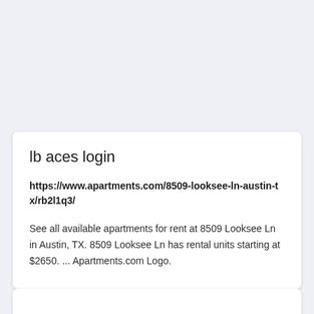lb aces login
https://www.apartments.com/8509-looksee-ln-austin-tx/rb2l1q3/
See all available apartments for rent at 8509 Looksee Ln in Austin, TX. 8509 Looksee Ln has rental units starting at $2650. ... Apartments.com Logo.